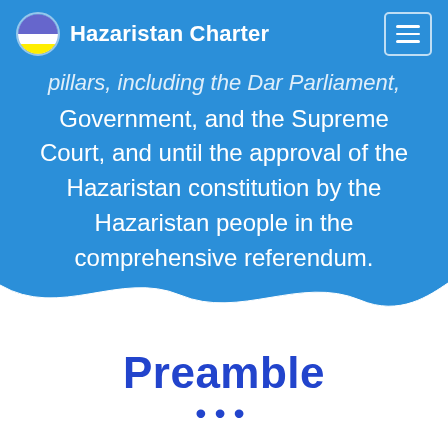Hazaristan Charter
pillars, including the Dar Parliament, Government, and the Supreme Court, and until the approval of the Hazaristan constitution by the Hazaristan people in the comprehensive referendum.
Preamble
...